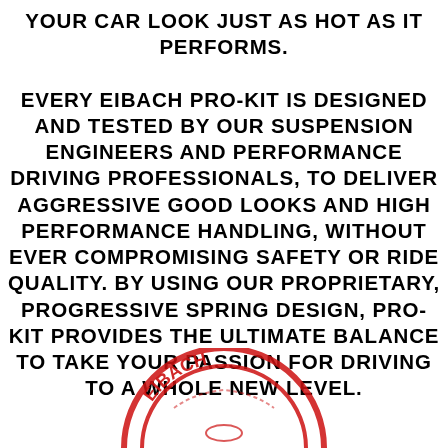YOUR CAR LOOK JUST AS HOT AS IT PERFORMS. EVERY EIBACH PRO-KIT IS DESIGNED AND TESTED BY OUR SUSPENSION ENGINEERS AND PERFORMANCE DRIVING PROFESSIONALS, TO DELIVER AGGRESSIVE GOOD LOOKS AND HIGH PERFORMANCE HANDLING, WITHOUT EVER COMPROMISING SAFETY OR RIDE QUALITY. BY USING OUR PROPRIETARY, PROGRESSIVE SPRING DESIGN, PRO-KIT PROVIDES THE ULTIMATE BALANCE TO TAKE YOUR PASSION FOR DRIVING TO A WHOLE NEW LEVEL.
[Figure (logo): Eibach logo - partial circular red stamp/seal visible at bottom of page]